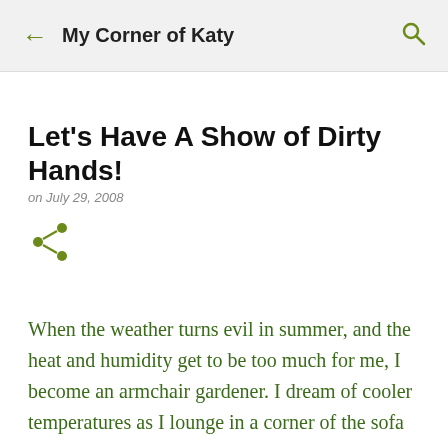My Corner of Katy
Let's Have A Show of Dirty Hands!
on July 29, 2008
[Figure (other): Share icon (green)]
When the weather turns evil in summer, and the heat and humidity get to be too much for me, I become an armchair gardener. I dream of cooler temperatures as I lounge in a corner of the sofa